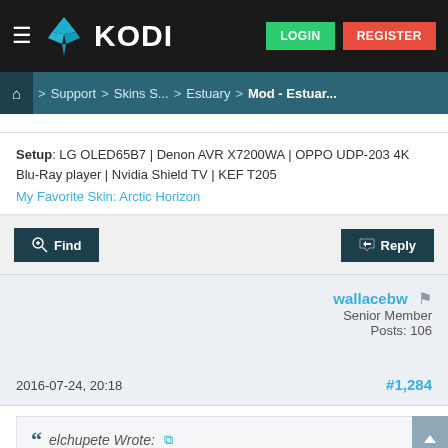KODI — LOGIN | REGISTER
Home > Support > Skins S... > Estuary > Mod - Estuar...
Setup: LG OLED65B7 | Denon AVR X7200WA | OPPO UDP-203 4K Blu-Ray player | Nvidia Shield TV | KEF T205
My Favorite Skin: Arctic Horizon
Find   Reply
wallacebw
Senior Member
Posts: 106
2016-07-24, 20:18
#1,284
elchupete Wrote: